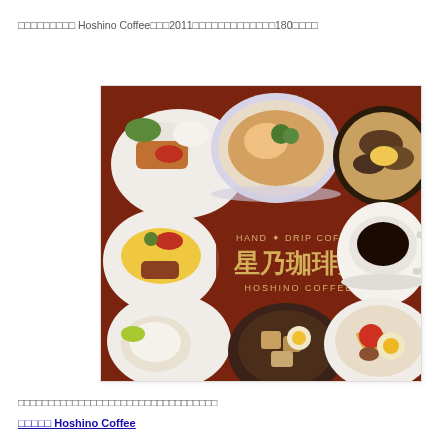□□□□□□□□□ Hoshino Coffee□□□2011□□□□□□□□□□□□□180□□□□
[Figure (photo): Hoshino Coffee restaurant promotional image showing various Japanese dishes and coffee on a dark brown table. Center text reads 'HAND DRIP COFFEE 星乃珈琲店 HOSHINO COFFEE'. Dishes include tonkatsu, omurice, gratin, seafood dishes, and a cup of black coffee.]
□□□□□□□□□□□□□□□□□□□□□□□□□□□□□□□□□
□□□□□ Hoshino Coffee